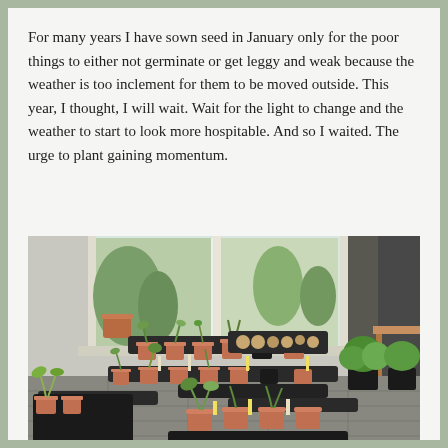For many years I have sown seed in January only for the poor things to either not germinate or get leggy and weak because the weather is too inclement for them to be moved outside. This year, I thought, I will wait. Wait for the light to change and the weather to start to look more hospitable. And so I waited. The urge to plant gaining momentum.
[Figure (photo): A collection of seedlings and small plants in pots and seed trays arranged on a tiled floor near a large window. Through the window a garden is visible with terracotta pots and plants outside. Inside there are many small terracotta and black pots with young seedlings and seed trays with soil. A wooden side table is visible on the right, and curtains hang in the background.]